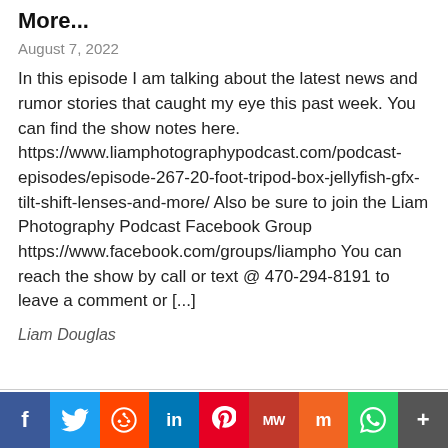More...
August 7, 2022
In this episode I am talking about the latest news and rumor stories that caught my eye this past week. You can find the show notes here. https://www.liamphotographypodcast.com/podcast-episodes/episode-267-20-foot-tripod-box-jellyfish-gfx-tilt-shift-lenses-and-more/ Also be sure to join the Liam Photography Podcast Facebook Group https://www.facebook.com/groups/liampho You can reach the show by call or text @ 470-294-8191 to leave a comment or [...]
Liam Douglas
[Figure (infographic): Social share bar with icons: Facebook (blue), Twitter (light blue), Reddit (orange-red), LinkedIn (dark blue), Pinterest (red), MW (dark red), Mix (orange), WhatsApp (green), More (gray)]